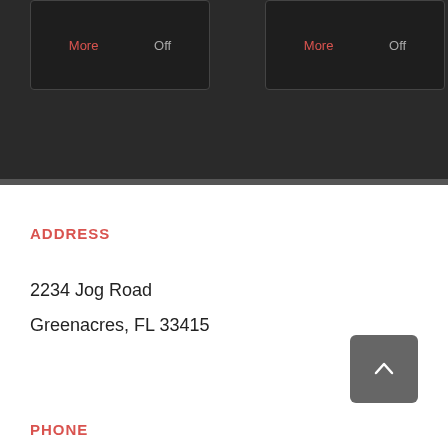[Figure (screenshot): Dark background section with two UI cards. Left card shows 'More' in red and 'Off' in gray. Right card shows 'More' in red and 'Off' in gray.]
ADDRESS
2234 Jog Road
Greenacres, FL 33415
[Figure (other): Back to top button with upward chevron arrow on gray rounded square background]
PHONE